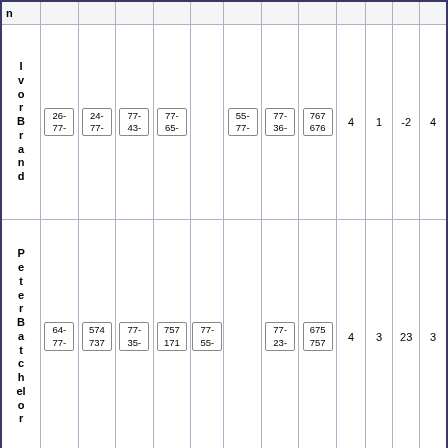| n |  |  |  |  |  |  |  |  |  |  |  |  |
| --- | --- | --- | --- | --- | --- | --- | --- | --- | --- | --- | --- | --- |
| IvorBrand | 26-
77- | 24-
77- | 77-
43- | 77-
65- |  | 55-
77- | 77-
36- | 767
676 | 4 | 1 | -2 | 4 |
| PeterBatchelor | 64-
77- | 574
737 | 77-
35- | 757
171 | 77-
55- |  | 77-
23- | 675
757 | 4 | 3 | 23 | 3 |